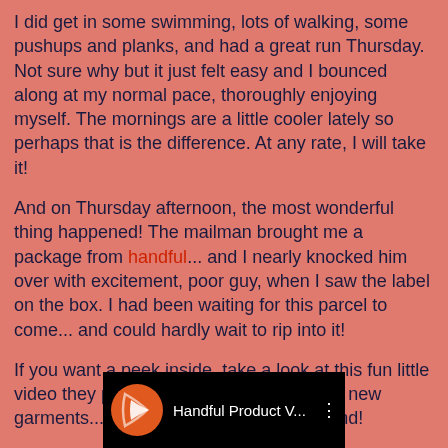I did get in some swimming, lots of walking, some pushups and planks, and had a great run Thursday.  Not sure why but it just felt easy and I bounced along at my normal pace, thoroughly enjoying myself.  The mornings are a little cooler lately so perhaps that is the difference.  At any rate, I will take it!
And on Thursday afternoon, the most wonderful thing happened!  The mailman brought me a package from handful... and I nearly knocked him over with excitement, poor guy, when I saw the label on the box.  I had been waiting for this parcel to come... and could hardly wait to rip into it!
If you want a peek inside, take a look at this fun little video they put together to promote their 2 new garments...  Make sure to turn up the sound!
[Figure (screenshot): Video thumbnail showing 'Handful Product V...' with an orange logo on black background and three dots menu icon]